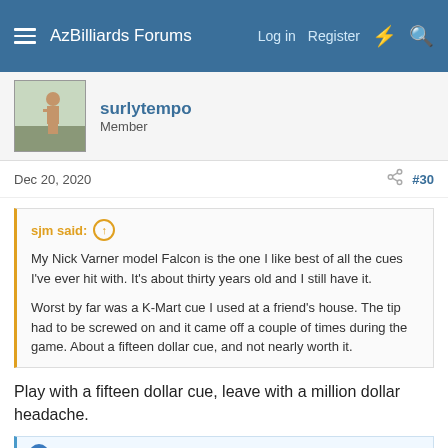AzBilliards Forums  Log in  Register
surlytempo
Member
Dec 20, 2020  #30
sjm said: ↑

My Nick Varner model Falcon is the one I like best of all the cues I've ever hit with. It's about thirty years old and I still have it.

Worst by far was a K-Mart cue I used at a friend's house. The tip had to be screwed on and it came off a couple of times during the game. About a fifteen dollar cue, and not nearly worth it.
Play with a fifteen dollar cue, leave with a million dollar headache.
👍 I-sleep-with-Pitbull
Johnny Rosato